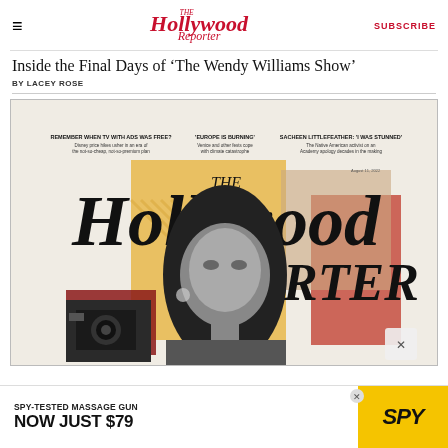The Hollywood Reporter | SUBSCRIBE
Inside the Final Days of 'The Wendy Williams Show'
BY LACEY ROSE
[Figure (photo): The Hollywood Reporter magazine cover featuring Wendy Williams in black and white, August 11, 2022. Cover headlines include 'REMEMBER WHEN TV WITH ADS WAS FREE?', ''EUROPE IS BURNING'', and 'SACHEEN LITTLEFEATHER: I WAS STUNNED'. Background features yellow and red graphic elements.]
[Figure (photo): Advertisement banner: SPY-TESTED MASSAGE GUN NOW JUST $79, with SPY logo on yellow background]